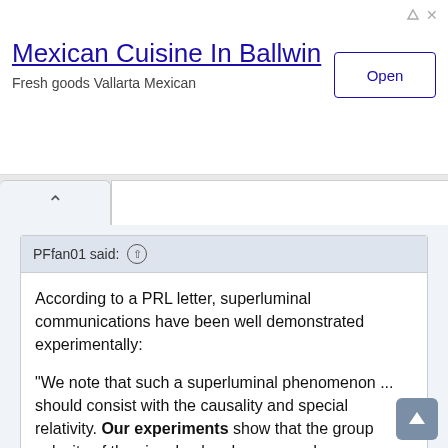[Figure (screenshot): Advertisement banner for Mexican Cuisine In Ballwin with Open button]
PFfan01 said: ↑
According to a PRL letter, superluminal communications have been well demonstrated experimentally:

"We note that such a superluminal phenomenon ... should consist with the causality and special relativity. Our experiments show that the group velocity of the signal pulse does exceed c ... provides a new way of opening up superluminal communications via optical fibers."